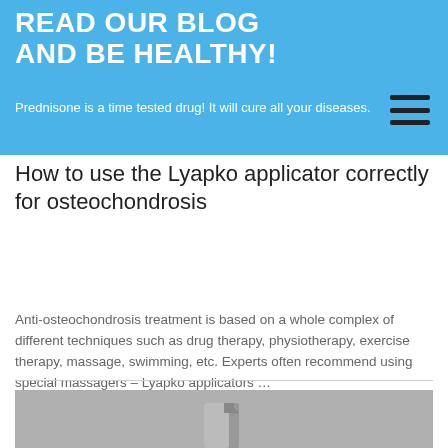READ OUR BLOG AND BE HEALTHY!
Prednisone is a time tested drug! It will cure all your diseases.
How to use the Lyapko applicator correctly for osteochondrosis
Anti-osteochondrosis treatment is based on a whole complex of different techniques such as drug therapy, physiotherapy, exercise therapy, massage, swimming, etc. Experts often recommend using special massagers – Lyapko applicators …
[Figure (other): Gray placeholder image with a document/file icon]